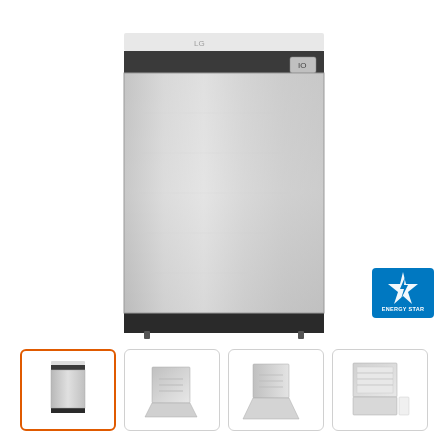[Figure (photo): LG stainless steel dishwasher front view, main product image]
[Figure (logo): Energy Star certification badge/logo]
[Figure (photo): Thumbnail 1: LG dishwasher front view (selected/active)]
[Figure (photo): Thumbnail 2: LG dishwasher open interior angled view]
[Figure (photo): Thumbnail 3: LG dishwasher open door angled view]
[Figure (photo): Thumbnail 4: LG dishwasher open top view with rack visible]